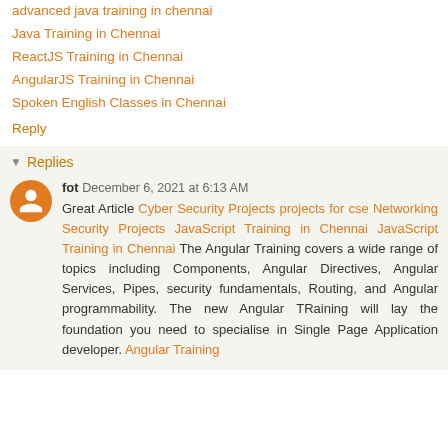advanced java training in chennai
Java Training in Chennai
ReactJS Training in Chennai
AngularJS Training in Chennai
Spoken English Classes in Chennai
Reply
Replies
fot December 6, 2021 at 6:13 AM
Great Article Cyber Security Projects projects for cse Networking Security Projects JavaScript Training in Chennai JavaScript Training in Chennai The Angular Training covers a wide range of topics including Components, Angular Directives, Angular Services, Pipes, security fundamentals, Routing, and Angular programmability. The new Angular TRaining will lay the foundation you need to specialise in Single Page Application developer. Angular Training